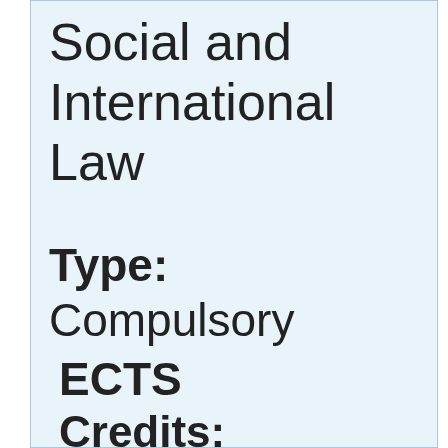Social and International Law
Type: Compulsory
ECTS Credits:
6.0 ECTS